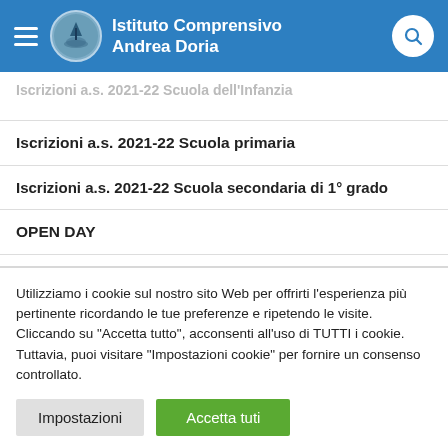Istituto Comprensivo Andrea Doria
Iscrizioni a.s. 2021-22 Scuola dell'Infanzia (partial)
Iscrizioni a.s. 2021-22 Scuola primaria
Iscrizioni a.s. 2021-22 Scuola secondaria di 1° grado
OPEN DAY
PTOF 2019/2022
Utilizziamo i cookie sul nostro sito Web per offrirti l'esperienza più pertinente ricordando le tue preferenze e ripetendo le visite. Cliccando su "Accetta tutto", acconsenti all'uso di TUTTI i cookie. Tuttavia, puoi visitare "Impostazioni cookie" per fornire un consenso controllato.
Impostazioni | Accetta tuti